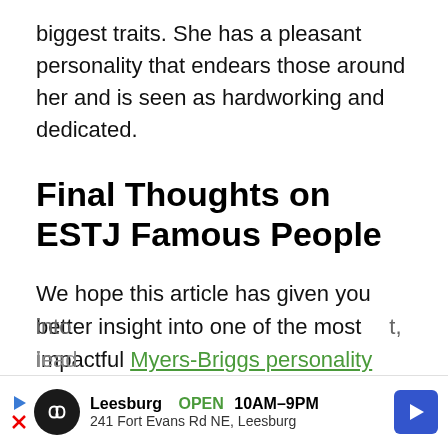biggest traits. She has a pleasant personality that endears those around her and is seen as hardworking and dedicated.
Final Thoughts on ESTJ Famous People
We hope this article has given you better insight into one of the most impactful Myers-Briggs personality types. It is likely you know at least a few people with the ESTJ type, given this type of person is not one to slip into
[Figure (infographic): Advertisement bar: Leesburg OPEN 10AM-9PM, 241 Fort Evans Rd NE, Leesburg, with map pin icon]